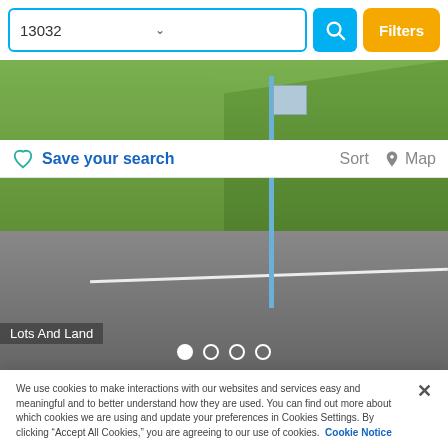[Figure (screenshot): Search bar with '13032' zip code input, blue search icon button, and yellow Filters button]
[Figure (photo): Outdoor photo showing grassy roadside area with blue real estate sign post, 'Lots And Land' label and carousel navigation dots]
Save your search
Sort  Map
We use cookies to make interactions with our websites and services easy and meaningful and to better understand how they are used. You can find out more about which cookies we are using and update your preferences in Cookies Settings. By clicking “Accept All Cookies,” you are agreeing to our use of cookies.  Cookie Notice
Cookies Settings
Accept All Cookies